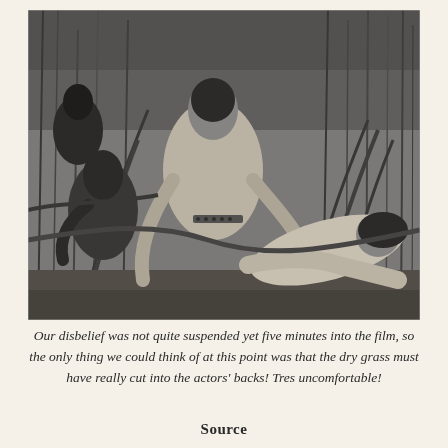[Figure (photo): Black and white photograph showing several people in tall grass or reeds. One person appears to be lifting or carrying another person who is lying on the ground, while another figure is visible in the background. The setting appears to be outdoors in dense vegetation.]
Our disbelief was not quite suspended yet five minutes into the film, so the only thing we could think of at this point was that the dry grass must have really cut into the actors' backs! Tres uncomfortable!
Source